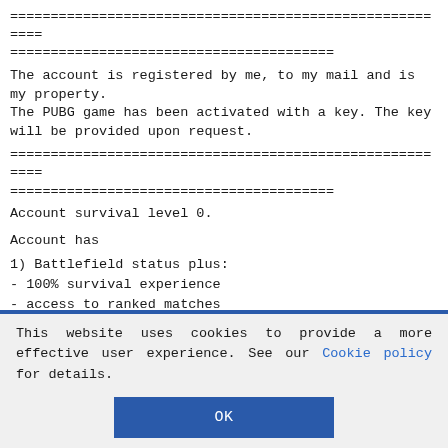=======================================================
========================================
The account is registered by me, to my mail and is my property.
The PUBG game has been activated with a key. The key will be provided upon request.
=======================================================
========================================
Account survival level 0.
Account has
1) Battlefield status plus:
- 100% survival experience
- access to ranked matches
- access to medals
- access to participation in international matches
This website uses cookies to provide a more effective user experience. See our Cookie policy for details.
OK